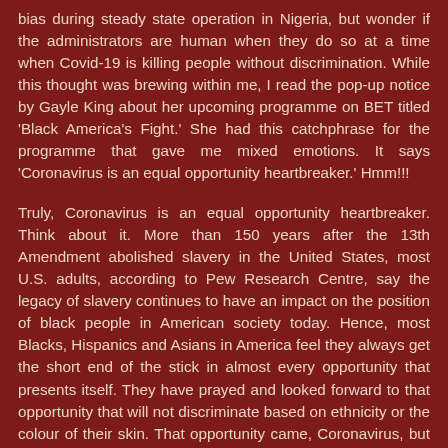bias during steady state operation in Nigeria, but wonder if the administrators are human when they do so at a time when Covid-19 is killing people without discrimination. While this thought was brewing within me, I read the pop-up notice by Gayle King about her upcoming programme on BET titled 'Black America's Fight.' She had this catchphrase for the programme that gave me mixed emotions. It says 'Coronavirus is an equal opportunity heartbreaker.' Hmm!!!
Truly, Coronavirus is an equal opportunity heartbreaker. Think about it. More than 150 years after the 13th Amendment abolished slavery in the United States, most U.S. adults, according to Pew Research Centre, say the legacy of slavery continues to have an impact on the position of black people in American society today. Hence, most Blacks, Hispanics and Asians in America feel they always get the short end of the stick in almost every opportunity that presents itself. They have prayed and looked forward to that opportunity that will not discriminate based on ethnicity or the colour of their skin. That opportunity came, Coronavirus, but not to bless them but to break their hearts. When it comes to Coronavirus, there is no inequality. It embraces as many that